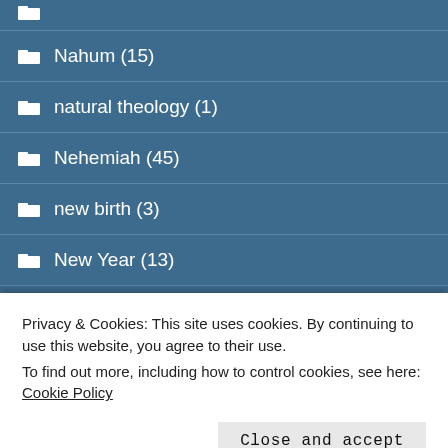Nahum (15)
natural theology (1)
Nehemiah (45)
new birth (3)
New Year (13)
Noel Peacock (1)
Privacy & Cookies: This site uses cookies. By continuing to use this website, you agree to their use.
To find out more, including how to control cookies, see here: Cookie Policy
Notes: 1-2 Corinthians (1)